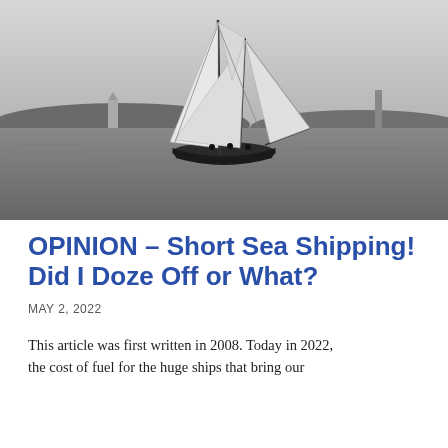[Figure (photo): Black and white historical photograph of a two-masted sailing schooner on open water, with a lighthouse and hilly coastline visible in the background.]
OPINION – Short Sea Shipping! Did I Doze Off or What?
MAY 2, 2022
This article was first written in 2008. Today in 2022, the cost of fuel for the huge ships that bring our